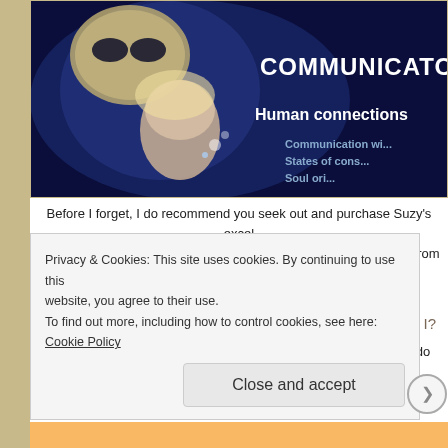[Figure (illustration): Website banner with dark blue background showing an alien and human female figure, with text 'COMMUNICATO', 'Human connections', 'Communication wi...', 'States of cons...', 'Soul ori...']
Before I forget, I do recommend you seek out and purchase Suzy's excel Alien Agenda for Human Advancement" (a project of many years from in mine at the event and, on balance, it's a
Where was I?
Ah yes, thinking of strange quixotic methods of reproduction (or do some
Privacy & Cookies: This site uses cookies. By continuing to use this website, you agree to their use.
To find out more, including how to control cookies, see here: Cookie Policy
Close and accept